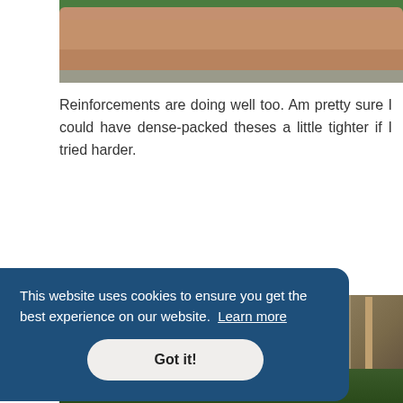[Figure (photo): Top portion of a terracotta planter/window box with green plants visible at the top, photographed from below]
Reinforcements are doing well too. Am pretty sure I could have dense-packed theses a little tighter if I tried harder.
[Figure (photo): Outdoor garden scene showing wooden fence posts with wire mesh fencing, trees in background, and garden beds]
This website uses cookies to ensure you get the best experience on our website. Learn more
Got it!